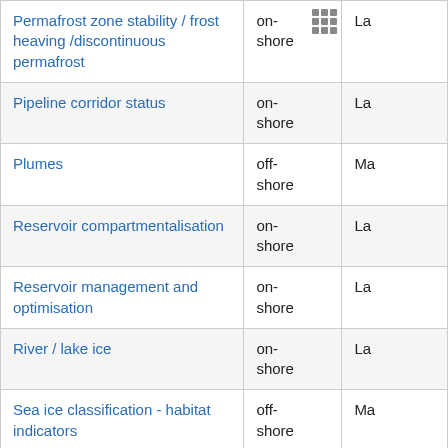|  | on-shore / off-shore | La / Ma |
| --- | --- | --- |
| Permafrost zone stability / frost heaving /discontinuous permafrost | on-shore | La |
| Pipeline corridor status | on-shore | La |
| Plumes | off-shore | Ma |
| Reservoir compartmentalisation | on-shore | La |
| Reservoir management and optimisation | on-shore | La |
| River / lake ice | on-shore | La |
| Sea ice classification - habitat indicators | off-shore | Ma |
| Sea surface salinity composite | off-shore | Ma |
| Sea surface salinity ... | off-shore |  |